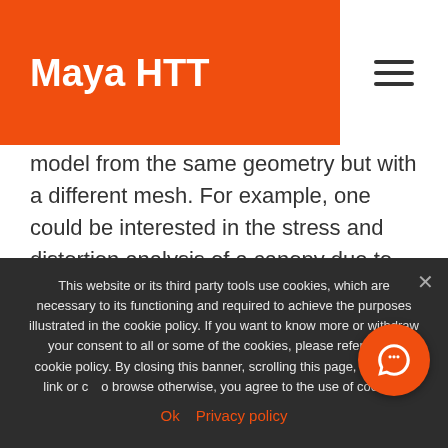Maya HTT
model from the same geometry but with a different mesh. For example, one could be interested in the stress and distortion analysis of a canopy due to wind forces.
The target FEM must use the same global coordinate system as the source FEM, and both models should be geometrically congruent
This website or its third party tools use cookies, which are necessary to its functioning and required to achieve the purposes illustrated in the cookie policy. If you want to know more or withdraw your consent to all or some of the cookies, please refer to the cookie policy. By closing this banner, scrolling this page, clicking a link or continuing to browse otherwise, you agree to the use of cookies.
Ok   Privacy policy